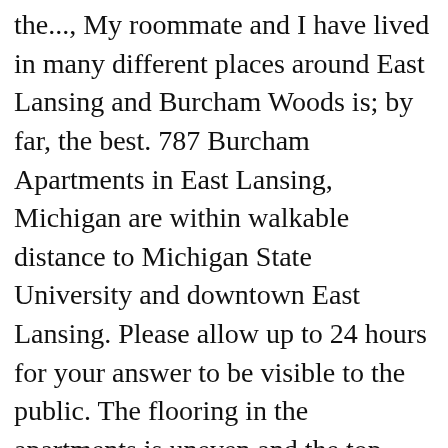the..., My roommate and I have lived in many different places around East Lansing and Burcham Woods is; by far, the best. 787 Burcham Apartments in East Lansing, Michigan are within walkable distance to Michigan State University and downtown East Lansing. Please allow up to 24 hours for your answer to be visible to the public. The flooring in the apartments is uneven and the top floor apartment ceilings have... See More. About 787 Burcham Dr East Lansing, MI 48823 (833) 251-9468 - 787 Burcham Apartments in East Lansing, Michigan are within walking distance to Michigan State University and downtown East Lansing. 787 Burcham Apartments in East Lansing, Michigan are within walking distance to Michigan State University and downtown East Lansing. The rooms are huge too, and its very affordable. By creating an account, I agree to